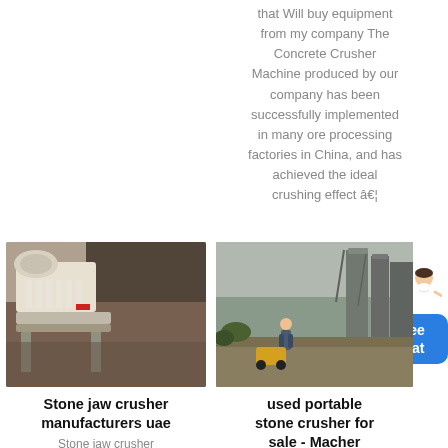that Will buy equipment from my company The Concrete Crusher Machine produced by our company has been successfully implemented in many ore processing factories in China, and has achieved the ideal crushing effect â€¦
[Figure (illustration): Chat widget with female figure and blue Free chat button]
[Figure (photo): Stone jaw crusher machine — industrial equipment]
[Figure (photo): Outdoor stone crushing site with worker and industrial structures]
Stone jaw crusher manufacturers uae
used portable stone crusher for sale - Macher
Stone jaw crusher